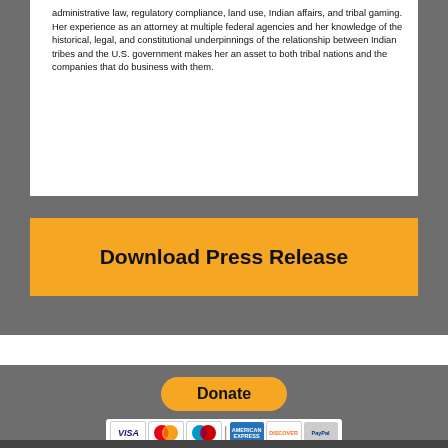administrative law, regulatory compliance, land use, Indian affairs, and tribal gaming. Her experience as an attorney at multiple federal agencies and her knowledge of the historical, legal, and constitutional underpinnings of the relationship between Indian tribes and the U.S. government makes her an asset to both tribal nations and the companies that do business with them.
[Figure (other): Yellow 'Download Press Release' button on gray background]
[Figure (other): Yellow rounded 'Donate' button with payment icons (Visa, Mastercard, Maestro, American Express, Discover, PayPal) on gray background]
[Figure (other): Dark strip at bottom of page]